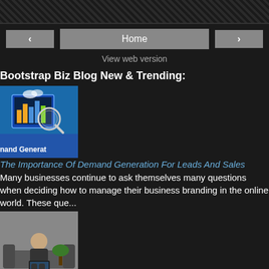< Home >
View web version
Bootstrap Biz Blog New & Trending:
[Figure (photo): Demand generation graphic showing computer monitor with charts and magnifying glass, labeled 'nand Generat']
The Importance Of Demand Generation For Leads And Sales
Many businesses continue to ask themselves many questions when deciding how to manage their business branding in the online world. These que...
[Figure (photo): Woman sitting on couch working on laptop computer]
How To Start, Build, And Grow A Successful Credit Repair Business
Credit card debt is a debilitating issue that has somehow become a part of life. However, mindsets around debt are changing, and many people...